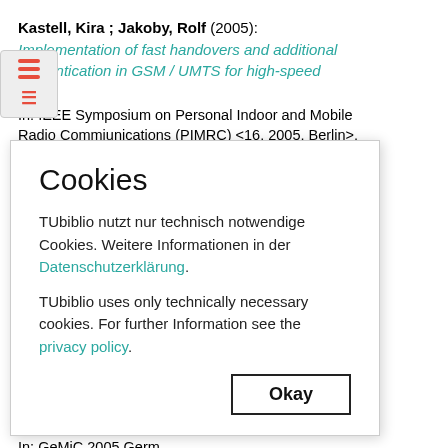Kastell, Kira ; Jakoby, Rolf (2005): Implementation of fast handovers and additional authentication in GSM / UMTS for high-speed users. In: IEEE Symposium on Personal Indoor and Mobile Radio Commiunications (PIMRC) <16. 2005, Berlin>, Berlin, Germany, Sept. 2005. [Konferenzveröffentlichung]
Penirschke, Andrea ; [truncated by modal] Gulden, P. ; Jakoby, [truncated] Moisture detection of [truncated] microwave technique [truncated] In: IEEE European M[truncated] France, Oct. 2005., [
Penirschke, Andrea ; [truncated] Jens ; Schuessler, M [truncated] Neural networks for m[truncated] shaped material sam[truncated] In: GeMiC 2005 Germ[truncated] 2005, Ulm, Germany. G. Lüssem, P. Best,,
[Figure (screenshot): Cookie consent modal dialog overlay on top of a bibliography page. Modal title: 'Cookies'. Body text in German and English about TUbiblio only using technically necessary cookies, with links to Datenschutzerklärung and privacy policy. An 'Okay' button at the bottom right.]